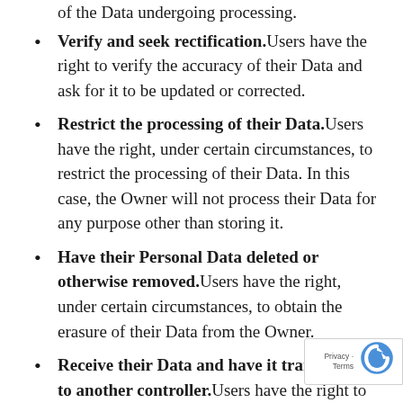of the Data undergoing processing.
Verify and seek rectification. Users have the right to verify the accuracy of their Data and ask for it to be updated or corrected.
Restrict the processing of their Data. Users have the right, under certain circumstances, to restrict the processing of their Data. In this case, the Owner will not process their Data for any purpose other than storing it.
Have their Personal Data deleted or otherwise removed. Users have the right, under certain circumstances, to obtain the erasure of their Data from the Owner.
Receive their Data and have it transferred to another controller. Users have the right to receive their Data in a structured, commonly used and machine readable format and, if...